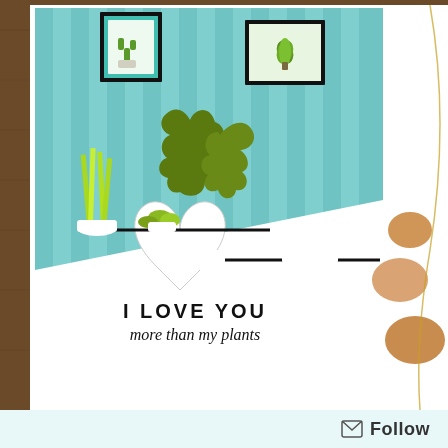[Figure (photo): A handmade greeting card displayed on a wooden surface. The card features a teal/aqua striped background with illustrated potted houseplants (monstera, snake plant, cactus) on shelves, framed plant artwork on the wall, and a large white die-cut heart in the lower portion. Text on the card reads 'I LOVE YOU more than my plants'. A watermark reads 'Scrapper at Heart Nancy Lepper scrappercatheart.com'. Wooden heart ornaments are visible in the background to the right.]
Follow